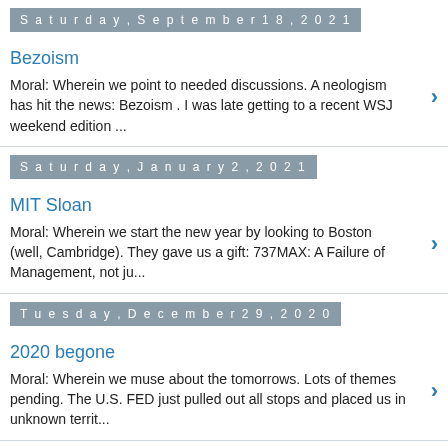Saturday, September 18, 2021
Bezoism
Moral:  Wherein we point to needed discussions.  A neologism has hit the news: Bezoism . I was late getting to a recent WSJ weekend edition ...
Saturday, January 2, 2021
MIT Sloan
Moral:  Wherein we start the new year by looking to Boston (well, Cambridge).  They gave us a gift:  737MAX: A Failure of Management, not ju...
Tuesday, December 29, 2020
2020 begone
Moral:  Wherein we muse about the tomorrows.  Lots of themes pending. The U.S. FED just pulled out all stops and placed us in unknown territ...
Tuesday, October 27, 2020